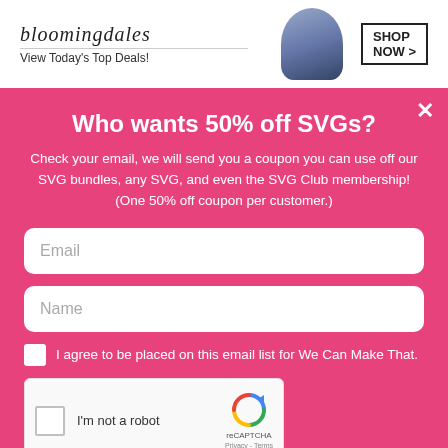[Figure (screenshot): Bloomingdales banner ad with 'View Today's Top Deals!' text and 'SHOP NOW >' button]
Who wants 50% off SVGs?
Check your email, we will send you a coupon you can use off our SVG bundles, any SVG, and even the SVG Club membership! (One 50% off coupon per customer.)
Email
Name
I agree to be placed on this email list for We Can Make That.
[Figure (screenshot): reCAPTCHA widget with 'I'm not a robot' checkbox]
YES! I LOVE CRAFTING STUFF